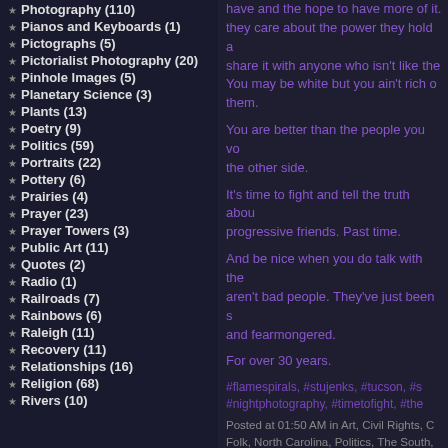Photography (110)
Pianos and Keyboards (1)
Pictographs (5)
Pictorialist Photography (20)
Pinhole Images (5)
Planetary Science (3)
Plants (13)
Poetry (9)
Politics (59)
Portraits (22)
Pottery (6)
Prairies (4)
Prayer (23)
Prayer Towers (3)
Public Art (11)
Quotes (2)
Radio (1)
Railroads (7)
Rainbows (6)
Raleigh (11)
Recovery (11)
Relationships (16)
Religion (68)
Rivers (10)
have and the hope to have more of it. they care about the power they hold a share it with anyone who isn't like the You may be white but you ain't rich o them.
You are better than the people you vo the other side.
It's time to fight and tell the truth abou progressive friends. Past time.
And be nice when you do talk with the aren't bad people. They've just been s and fearmongered.
For over 30 years.
#flamespirals, #stujenks, #tucson, #s #nightphotography, #timetofight, #the
Posted at 01:50 AM in Art, Civil Rights, C Folk, North Carolina, Politics, The South, Pieces, Wood | Permalink | Comments (0
APRIL 24, 2021
"Harriet Tubman, Dese Arizona" © Stu Jenks